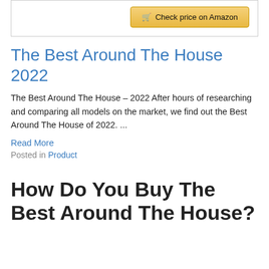[Figure (screenshot): Amazon 'Check price on Amazon' button inside a bordered box]
The Best Around The House 2022
The Best Around The House – 2022 After hours of researching and comparing all models on the market, we find out the Best Around The House of 2022. ...
Read More
Posted in Product
How Do You Buy The Best Around The House?